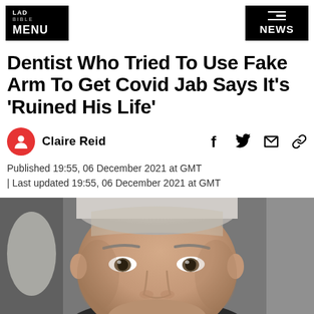LAD BIBLE MENU | NEWS
Dentist Who Tried To Use Fake Arm To Get Covid Jab Says It's 'Ruined His Life'
Claire Reid
Published 19:55, 06 December 2021 at GMT
| Last updated 19:55, 06 December 2021 at GMT
[Figure (photo): Close-up selfie photo of a middle-aged man with short grey/light hair, sitting in a car, looking at camera]